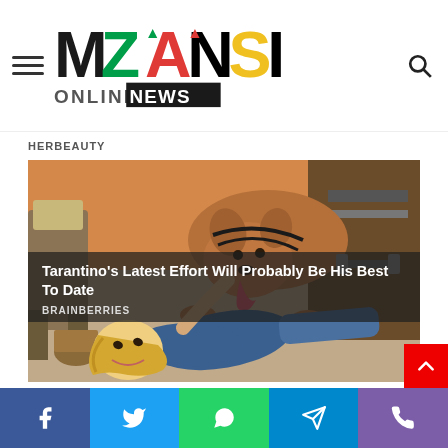MZANSI ONLINE NEWS
HERBEAUTY
[Figure (photo): Person lying on carpet floor with a brown pit bull dog standing over them and licking their face; indoor setting with chairs and furniture in background]
Tarantino's Latest Effort Will Probably Be His Best To Date
BRAINBERRIES